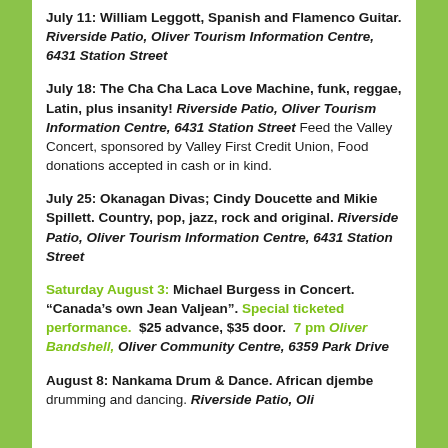July 11: William Leggott, Spanish and Flamenco Guitar. Riverside Patio, Oliver Tourism Information Centre, 6431 Station Street
July 18: The Cha Cha Laca Love Machine, funk, reggae, Latin, plus insanity! Riverside Patio, Oliver Tourism Information Centre, 6431 Station Street Feed the Valley Concert, sponsored by Valley First Credit Union, Food donations accepted in cash or in kind.
July 25: Okanagan Divas; Cindy Doucette and Mikie Spillett. Country, pop, jazz, rock and original. Riverside Patio, Oliver Tourism Information Centre, 6431 Station Street
Saturday August 3: Michael Burgess in Concert. “Canada’s own Jean Valjean”. Special ticketed performance.  $25 advance, $35 door.  7 pm Oliver Bandshell, Oliver Community Centre, 6359 Park Drive
August 8: Nankama Drum & Dance. African djembe drumming and dancing. Riverside Patio, Oliver Tourism Information Centre, 6431 Station Street